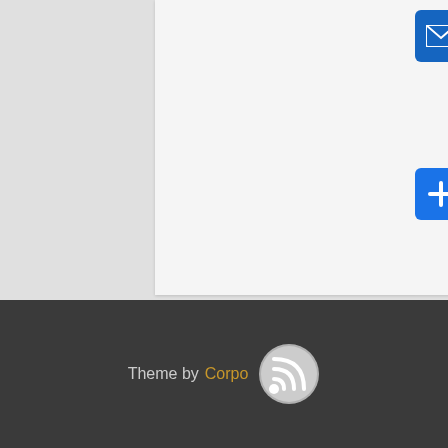[Figure (illustration): Blue rounded square button with white envelope/mail icon]
[Figure (illustration): Blue rounded square button with white plus sign icon]
Tags: bosch, injector, nozzle
Theme by Corpo...